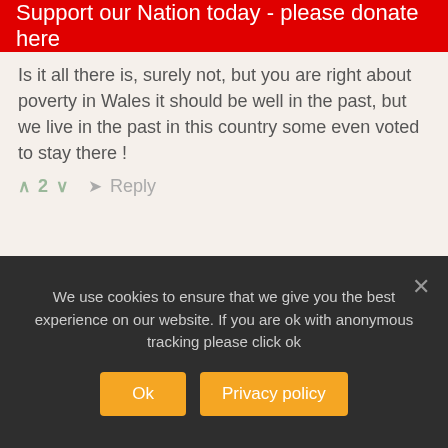Support our Nation today - please donate here
Is it all there is, surely not, but you are right about poverty in Wales it should be well in the past, but we live in the past in this country some even voted to stay there !
∧ 2 ∨   ➤ Reply
[Figure (photo): Close-up photo showing a glass jar and a person's hand holding something, with a blurred teal/light blue background.]
We use cookies to ensure that we give you the best experience on our website. If you are ok with anonymous tracking please click ok
Ok   Privacy policy